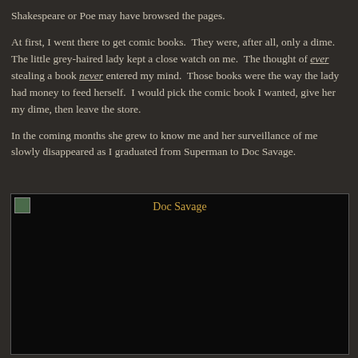Shakespeare or Poe may have browsed the pages.
At first, I went there to get comic books.  They were, after all, only a dime.  The little grey-haired lady kept a close watch on me.  The thought of ever stealing a book never entered my mind.  Those books were the way the lady had money to feed herself.  I would pick the comic book I wanted, give her my dime, then leave the store.
In the coming months she grew to know me and her surveillance of me slowly disappeared as I graduated from Superman to Doc Savage.
[Figure (photo): A dark/black image placeholder with a broken image icon in the top left and the caption 'Doc Savage' in golden/amber text centered at the top of the image area.]